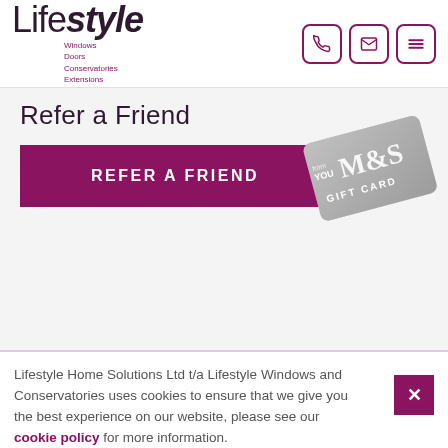Lifestyle Windows Doors Conservatories Extensions
Refer a Friend
[Figure (illustration): Purple 'REFER A FRIEND' button alongside an M&S Gift Card partially visible on the right]
Lifestyle Home Solutions Ltd t/a Lifestyle Windows and Conservatories uses cookies to ensure that we give you the best experience on our website, please see our cookie policy for more information.